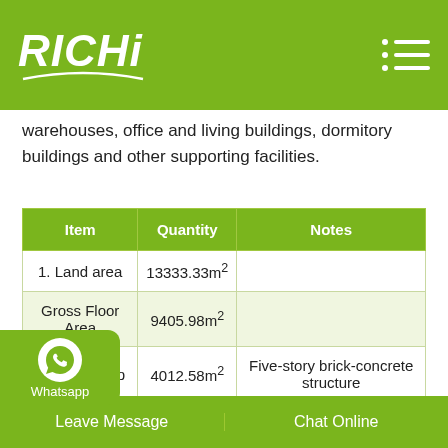RICHI
warehouses, office and living buildings, dormitory buildings and other supporting facilities.
| Item | Quantity | Notes |
| --- | --- | --- |
| 1. Land area | 13333.33m² |  |
| Gross Floor Area | 9405.98m² |  |
| (1) Workshop | 4012.58m² | Five-story brick-concrete structure |
Leave Message   Chat Online